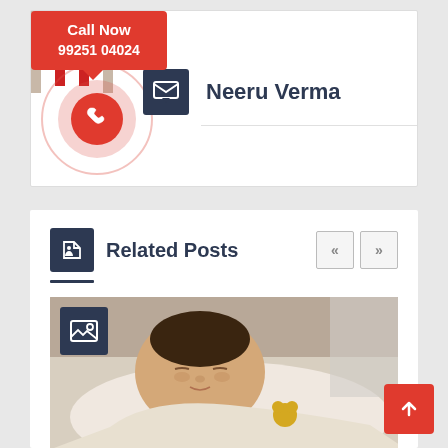[Figure (photo): Doctor photo - woman in white coat with red stethoscope]
Call Now
99251 04024
[Figure (illustration): Phone call ripple animation circle with phone icon]
[Figure (illustration): Message/envelope icon in dark navy box]
Neeru Verma
Related Posts
[Figure (photo): Sleeping newborn baby wrapped in white cloth]